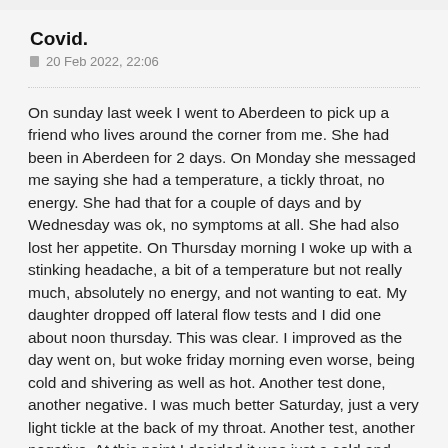Covid.
20 Feb 2022, 22:06
On sunday last week I went to Aberdeen to pick up a friend who lives around the corner from me. She had been in Aberdeen for 2 days. On Monday she messaged me saying she had a temperature, a tickly throat, no energy. She had that for a couple of days and by Wednesday was ok, no symptoms at all. She had also lost her appetite. On Thursday morning I woke up with a stinking headache, a bit of a temperature but not really much, absolutely no energy, and not wanting to eat. My daughter dropped off lateral flow tests and I did one about noon thursday. This was clear. I improved as the day went on, but woke friday morning even worse, being cold and shivering as well as hot. Another test done, another negative. I was much better Saturday, just a very light tickle at the back of my throat. Another test, another negative. At this point I decided it was just a cold and nothing to worry about. I was away to go visit daughter and grand kids this afternoon. Daughter said do a test